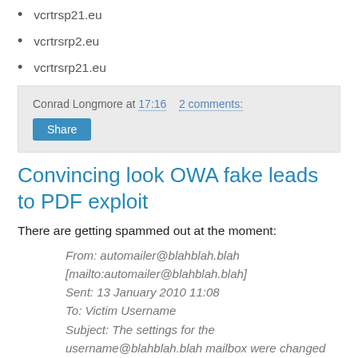vcrtrsр21.eu
vcrtrsrp2.eu
vcrtrsrp21.eu
Conrad Longmore at 17:16   2 comments:
Share
Convincing look OWA fake leads to PDF exploit
There are getting spammed out at the moment:
From: automailer@blahblah.blah [mailto:automailer@blahblah.blah]
Sent: 13 January 2010 11:08
To: Victim Username
Subject: The settings for the username@blahblah.blah mailbox were changed